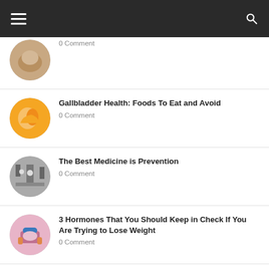Navigation bar with menu and search
0 Comment
Gallbladder Health: Foods To Eat and Avoid — 0 Comment
The Best Medicine is Prevention — 0 Comment
3 Hormones That You Should Keep in Check If You Are Trying to Lose Weight — 0 Comment
Best Ways to Cut Back on Sugar — 0 Comment
Here are the Benefits of Reducing Consumption of Artificial Sweeteners